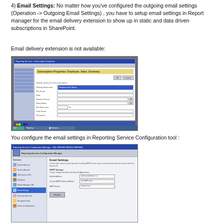4) Email Settings: No matter how you've configured the outgoing email settings (Operation -> Outgoing Email Settings) , you have to setup email settings in Report manager for the email delivery extension to show up in static and data driven subscriptions in SharePoint.
Email delivery extension is not available:
[Figure (screenshot): Screenshot of Subscription Properties dialog showing email delivery extension is not available, with a form showing fields for delivery address and options.]
You configure the email settings in Reporting Service Configuration tool :
[Figure (screenshot): Screenshot of Reporting Services Configuration Manager showing Email Settings panel with SMTP settings fields including Sender Address, Current SMTP Delivery Method, and SMTP Server.]